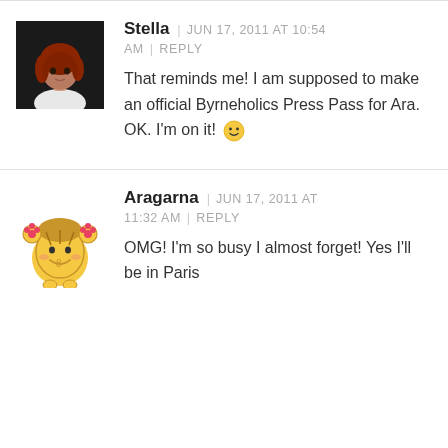[Figure (photo): Avatar of Stella: a 3D rendered woman with red hair wearing a white shirt, dark background]
Stella | JUN 17, 2011 AT 10:54 AM | REPLY
That reminds me! I am supposed to make an official Byrneholics Press Pass for Ara. OK. I'm on it! 🙂
[Figure (illustration): Avatar of Aragarna: a cartoon illustration of a round yellow girl character with pigtails and flowers, smiling]
Aragarna | JUN 17, 2011 AT 11:32 AM | REPLY
OMG! I'm so busy I almost forget! Yes I'll be in Paris...